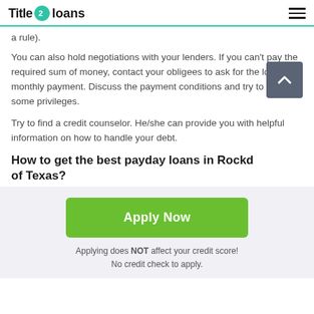Title 2 loans
a rule).
You can also hold negotiations with your lenders. If you can't pay the required sum of money, contact your obligees to ask for the lower monthly payment. Discuss the payment conditions and try to get some privileges.
Try to find a credit counselor. He/she can provide you with helpful information on how to handle your debt.
How to get the best payday loans in Rockd of Texas?
[Figure (other): Green Apply Now button with subtext 'Applying does NOT affect your credit score! No credit check to apply.']
Applying does NOT affect your credit score!
No credit check to apply.